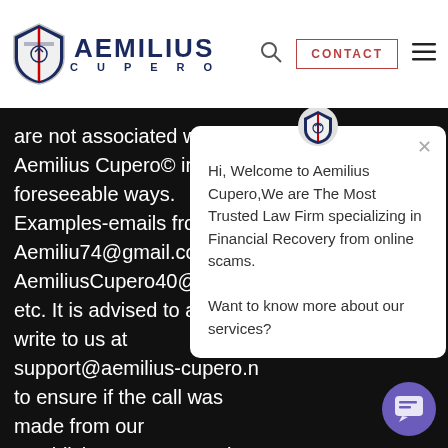[Figure (logo): Aemilius Cupero logo with shield icon and navigation bar including search, CONTACT button, and hamburger menu]
are not associated with Aemilius Cupero© in any foreseeable ways. Examples-emails from Aemiliu74@gmail.com, AemiliusCupero40@yahoo.c etc. It is advised to always write to us at support@aemilius-cupero.n to ensure if the call was made from our establishment. We use the registered domain of www.aemilius-cupero.com or .net to mail, and no other domain, public or private, is
[Figure (screenshot): Chat popup widget with Aemilius Cupero shield logo at top, close X button, and text: Hi, Welcome to Aemilius Cupero,We are The Most Trusted Law Firm specializing in Financial Recovery from online scams. Want to know more about our services?]